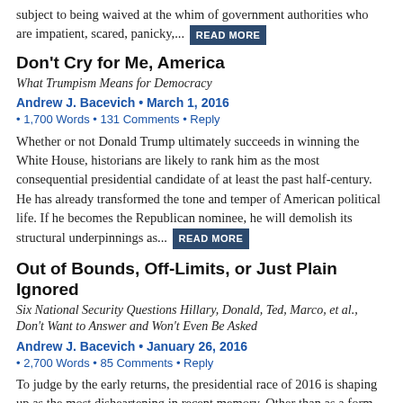subject to being waived at the whim of government authorities who are impatient, scared, panicky,... READ MORE
Don't Cry for Me, America
What Trumpism Means for Democracy
Andrew J. Bacevich • March 1, 2016
• 1,700 Words • 131 Comments • Reply
Whether or not Donald Trump ultimately succeeds in winning the White House, historians are likely to rank him as the most consequential presidential candidate of at least the past half-century. He has already transformed the tone and temper of American political life. If he becomes the Republican nominee, he will demolish its structural underpinnings as... READ MORE
Out of Bounds, Off-Limits, or Just Plain Ignored
Six National Security Questions Hillary, Donald, Ted, Marco, et al., Don't Want to Answer and Won't Even Be Asked
Andrew J. Bacevich • January 26, 2016
• 2,700 Words • 85 Comments • Reply
To judge by the early returns, the presidential race of 2016 is shaping up as the most disheartening in recent memory. Other than as a form of low entertainment, the speeches, debates, campaign events, and slick TV ads already inundating the public sphere offer little of value.